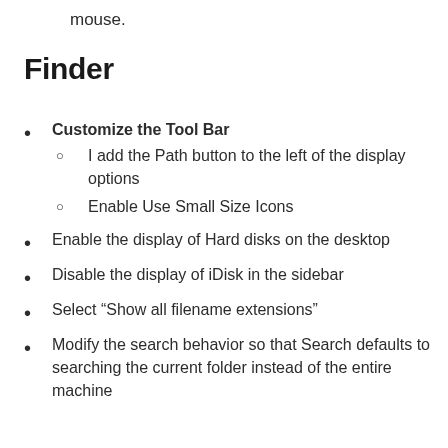mouse.
Finder
Customize the Tool Bar
I add the Path button to the left of the display options
Enable Use Small Size Icons
Enable the display of Hard disks on the desktop
Disable the display of iDisk in the sidebar
Select “Show all filename extensions”
Modify the search behavior so that Search defaults to searching the current folder instead of the entire machine